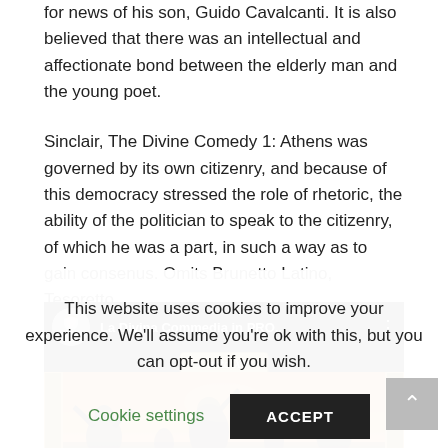for news of his son, Guido Cavalcanti. It is also believed that there was an intellectual and affectionate bond between the elderly man and the young poet.
Sinclair, The Divine Comedy 1: Athens was governed by its own citizenry, and because of this democracy stressed the role of rhetoric, the ability of the politician to speak to the citizenry, of which he was a part, in such a way as to gain consenus. Omits Brunetto Latino, Tesoretto.
[Figure (screenshot): YouTube video thumbnail for 'La Divina Commedia in PRO...' showing Canto XV. Black top bar with circular avatar of a classical bust, video title text, and three-dot menu. Below is an ornate golden banner reading 'Canto XV' and artwork depicting dramatic figures against an orange sky background.]
This website uses cookies to improve your experience. We'll assume you're ok with this, but you can opt-out if you wish.